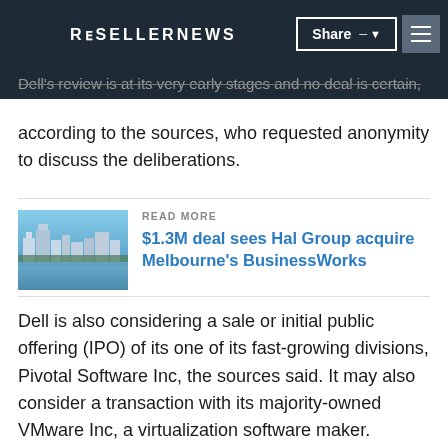RESELLERNEWS
Dell's review is at its very early stages and no deal is certain, according to the sources, who requested anonymity to discuss the deliberations.
READ MORE
$1.3M deal sees Hal Group acquire Melbourne's BusinessWorks
Dell is also considering a sale or initial public offering (IPO) of its one of its fast-growing divisions, Pivotal Software Inc, the sources said. It may also consider a transaction with its majority-owned VMware Inc, a virtualization software maker.
VMware shares, which have gained more than 62 per cent in the past 12 months, touched an all-time high last week.